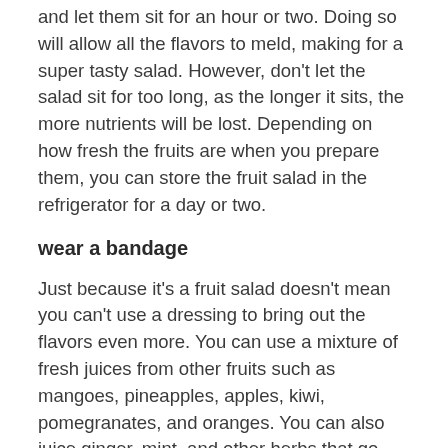and let them sit for an hour or two. Doing so will allow all the flavors to meld, making for a super tasty salad. However, don't let the salad sit for too long, as the longer it sits, the more nutrients will be lost. Depending on how fresh the fruits are when you prepare them, you can store the fruit salad in the refrigerator for a day or two.
wear a bandage
Just because it's a fruit salad doesn't mean you can't use a dressing to bring out the flavors even more. You can use a mixture of fresh juices from other fruits such as mangoes, pineapples, apples, kiwi, pomegranates, and oranges. You can also juice ginger, mint, and other herbs that go well with fresh fruit.
Agave honey or nectar also pairs very well with fresh fruit. You can mix them with fresh juices, cinnamon, nutmeg, cloves, ginger, mint, lavender, and a touch of sea salt for a rich fruit salad dressing. Once you figure out which ingredients you like, simply mix them together and drizzle